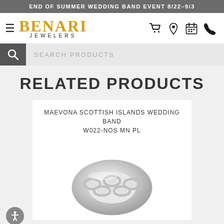END OF SUMMER WEDDING BAND EVENT 8/22–9/3
[Figure (logo): Benari Jewelers logo with hamburger menu icon and navigation icons (cart, location pin, calendar, phone)]
SEARCH PRODUCTS
RELATED PRODUCTS
MAEVONA SCOTTISH ISLANDS WEDDING BAND W022-NOS MN PL
[Figure (photo): Silver/platinum Celtic-style interlaced wedding band ring, shown at angle against white background]